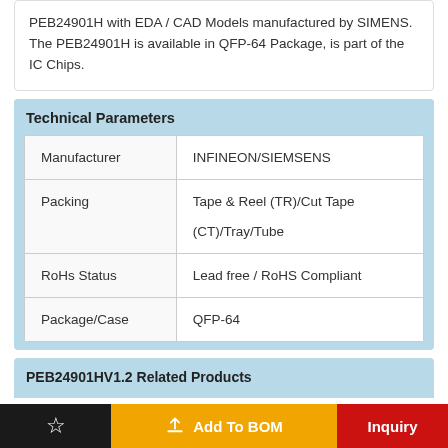PEB24901H with EDA / CAD Models manufactured by SIMENS. The PEB24901H is available in QFP-64 Package, is part of the IC Chips.
Technical Parameters
|  |  |
| --- | --- |
| Manufacturer | INFINEON/SIEMSENS |
| Packing | Tape & Reel (TR)/Cut Tape (CT)/Tray/Tube |
| RoHs Status | Lead free / RoHS Compliant |
| Package/Case | QFP-64 |
PEB24901HV1.2 Related Products